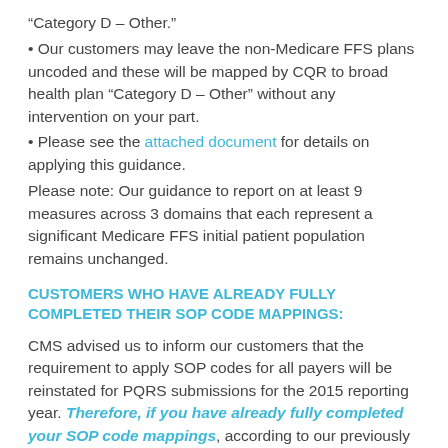“Category D – Other.”
• Our customers may leave the non-Medicare FFS plans uncoded and these will be mapped by CQR to broad health plan “Category D – Other” without any intervention on your part.
• Please see the attached document for details on applying this guidance.
Please note: Our guidance to report on at least 9 measures across 3 domains that each represent a significant Medicare FFS initial patient population remains unchanged.
CUSTOMERS WHO HAVE ALREADY FULLY COMPLETED THEIR SOP CODE MAPPINGS:
CMS advised us to inform our customers that the requirement to apply SOP codes for all payers will be reinstated for PQRS submissions for the 2015 reporting year. Therefore, if you have already fully completed your SOP code mappings, according to our previously issued workflow for the 2014 program